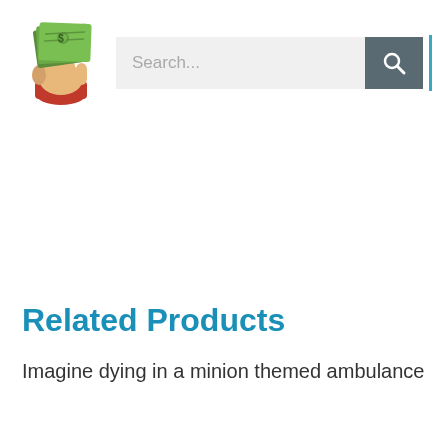[Figure (logo): Hand holding a fanned stack of dollar bills with a red cuff, cartoon style logo]
[Figure (screenshot): Search bar with placeholder text 'Search...' and a dark grey search button with magnifying glass icon, followed by a vertical blue divider line]
Related Products
Imagine dying in a minion themed ambulance